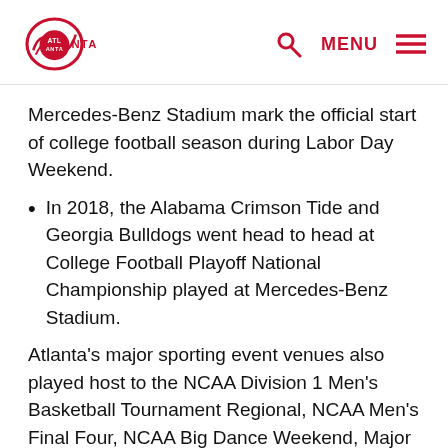Atlanta | MENU
Mercedes-Benz Stadium mark the official start of college football season during Labor Day Weekend.
In 2018, the Alabama Crimson Tide and Georgia Bulldogs went head to head at College Football Playoff National Championship played at Mercedes-Benz Stadium.
Atlanta's major sporting event venues also played host to the NCAA Division 1 Men's Basketball Tournament Regional, NCAA Men's Final Four, NCAA Big Dance Weekend, Major League Soccer All-Star Game, WrestleMania XXVII and CONCACAF Gold Cup Semifinal.